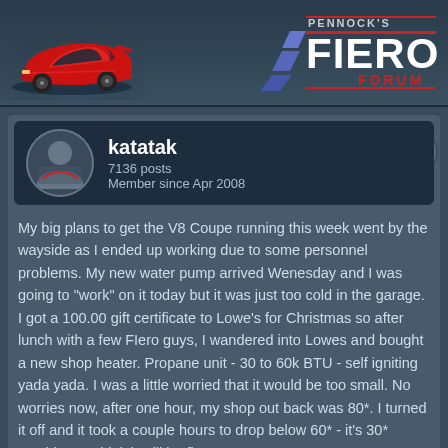[Figure (screenshot): Pennock's Fiero Forum header with red Pontiac Fiero car image on left and stylized 'FIERO FORUM' logo on right]
katatak
7136 posts
Member since Apr 2008
My big plans to get the V8 Coupe running this week went by the wayside as I ended up working due to some personnel problems. My new water pump arrived Wenesday and I was going to "work" on it today but it was just too cold in the garage. I got a 100.00 gift certificate to Lowe's for Christmas so after lunch with a few FIero guys, I wandered into Lowes and bought a new shop heater. Propane unit - 30 to 60k BTU - self igniting yada yada. I was a little worried that it would be too small. No worries now, after one hour, my shop out back was 80*. I turned it off and it took a couple hours to drop below 60* - it's 30* outside so I think it will be fine.

I needed to get the headers high heat painted and then heat treated before I wrap them in header wrap. So I pulled the m off the motor and put them in the oven to "burn" off any oils, etc. Then I took them out to the shop